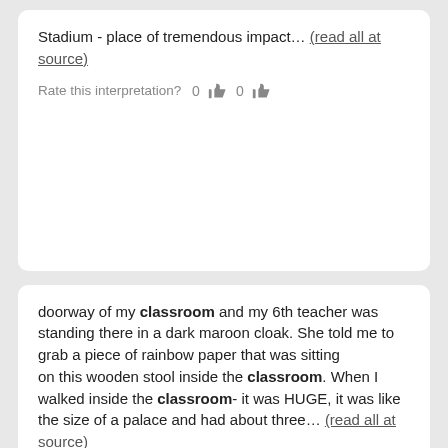Stadium - place of tremendous impact… (read all at source)
Rate this interpretation?  0  👍  0  👎
doorway of my classroom and my 6th teacher was standing there in a dark maroon cloak. She told me to grab a piece of rainbow paper that was sitting on this wooden stool inside the classroom. When I walked inside the classroom- it was HUGE, it was like the size of a palace and had about three… (read all at source)
Rate this interpretation?  0  👍  0  👎